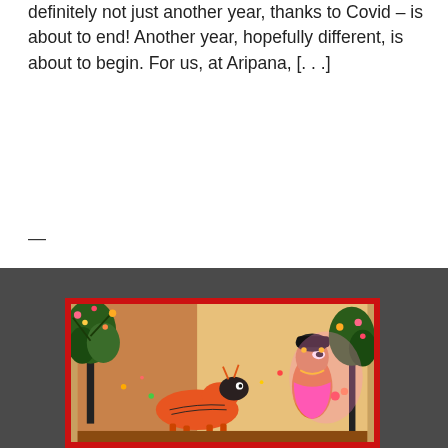definitely not just another year, thanks to Covid – is about to end! Another year, hopefully different, is about to begin. For us, at Aripana, [...]
—
[Figure (illustration): A traditional Madhubani (Mithila) painting depicting figures, animals, and trees in vibrant red, orange, green, pink and black colors, framed with a red border, set against a dark gray background.]